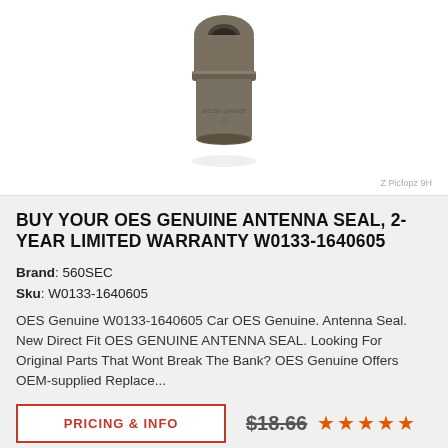[Figure (photo): A gray/brown rubber antenna seal component, cylindrical shape with a rounded top and raised ridges, photographed on white background. Watermark text visible at bottom right.]
BUY YOUR OES GENUINE ANTENNA SEAL, 2-YEAR LIMITED WARRANTY W0133-1640605
Brand: 560SEC
Sku: W0133-1640605
OES Genuine W0133-1640605 Car OES Genuine. Antenna Seal. New Direct Fit OES GENUINE ANTENNA SEAL. Looking For Original Parts That Wont Break The Bank? OES Genuine Offers OEM-supplied Replace...
PRICING & INFO
$18.66
[Figure (other): 5 orange/red star rating icons]